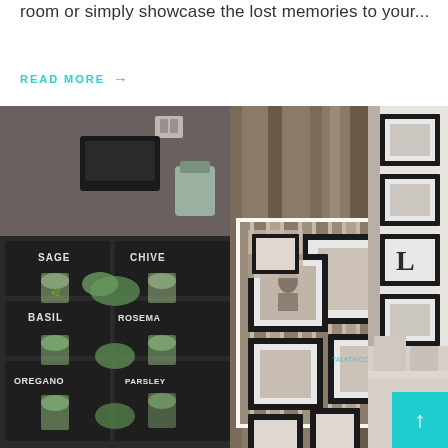room or simply showcase the lost memories to your...
READ MORE →
[Figure (photo): Collage of three home decor photos: left shows a chalkboard herb garden wall with jars labeled SAGE, CHIVES, BASIL, ROSEMARY, OREGANO, PARSLEY; center shows rustic wood pallet frames with black photo frames arranged on wood planks; right shows a tall ladder-style frame gallery with multiple framed black-and-white photos and letter 'L'.]
↑